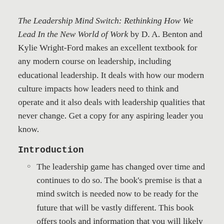The Leadership Mind Switch: Rethinking How We Lead In the New World of Work by D. A. Benton and Kylie Wright-Ford makes an excellent textbook for any modern course on leadership, including educational leadership. It deals with how our modern culture impacts how leaders need to think and operate and it also deals with leadership qualities that never change. Get a copy for any aspiring leader you know.
Introduction
The leadership game has changed over time and continues to do so. The book's premise is that a mind switch is needed now to be ready for the future that will be vastly different. This book offers tools and information that you will likely need to lead in the future. You will need